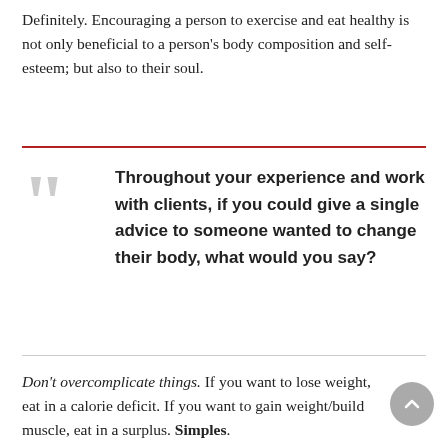Definitely. Encouraging a person to exercise and eat healthy is not only beneficial to a person's body composition and self-esteem; but also to their soul.
Throughout your experience and work with clients, if you could give a single advice to someone wanted to change their body, what would you say?
Don't overcomplicate things. If you want to lose weight, eat in a calorie deficit. If you want to gain weight/build muscle, eat in a surplus. Simples.